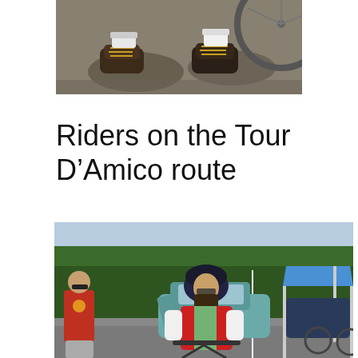[Figure (photo): Close-up photo of cyclists' feet and shoes on pavement near a bicycle wheel, shadows visible on asphalt]
Riders on the Tour D’Amico route
[Figure (photo): Photo of cyclists at a parking lot or event area. A person wearing a red and white cycling jersey and helmet is in the center, a blue canopy tent is visible on the right, green trees in the background, another person in a red shirt on the left.]